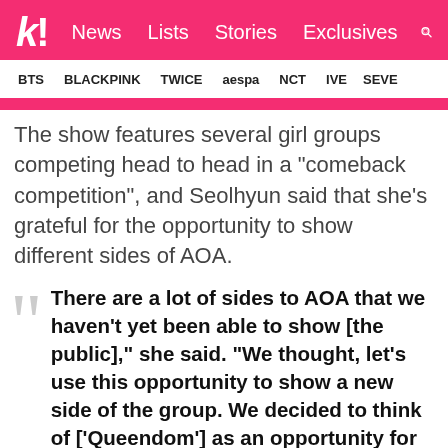k! News Lists Stories Exclusives
BTS BLACKPINK TWICE aespa NCT IVE SEVE
The show features several girl groups competing head to head in a “comeback competition”, and Seolhyun said that she’s grateful for the opportunity to show different sides of AOA.
“There are a lot of sides to AOA that we haven’t yet been able to show [the public],” she said. “We thought, let’s use this opportunity to show a new side of the group. We decided to think of [‘Queendom’] as an opportunity for the five of us to grow and evolve as we practice together again. —Seolhyun